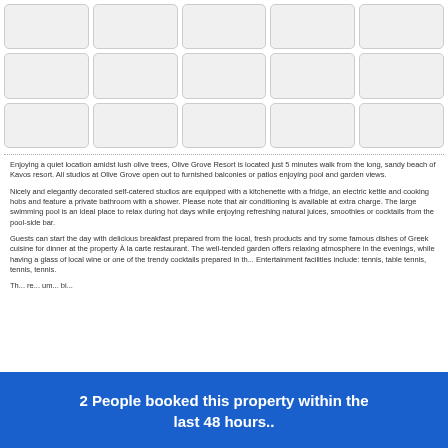[Figure (photo): Grid of 15 placeholder photo thumbnails arranged in 3 rows of 5 columns]
Enjoying a quiet location amidst lush olive trees, Olive Grove Resort is located just 5 minutes walk from the long, sandy beach of Kavos resort. All studios at Olive Grove open out to furnished balconies or patios enjoying pool and garden views.
Nicely and elegantly decorated self-catered studios are equipped with a kitchenette with a fridge, an electric kettle and cooking hobs and feature a private bathroom with a shower. Please note that air conditioning is available at extra charge. The large swimming pool is an ideal place to relax during hot days while enjoying refreshing natural juices, smoothies or cocktails from the pool-side bar.
Guests can start the day with delicious breakfast prepared from the local, fresh products and try some famous dishes of Greek cuisine for dinner at the property À la carte restaurant. The well-tended garden offers relaxing atmosphere in the evenings, while having a glass of local wine or one of the trendy cocktails prepared in the... Entertainment facilities include: tennis, table tennis, tennis, tennis.
The... ready... umbrella... big...
2 People booked this property within the last 48 hours..